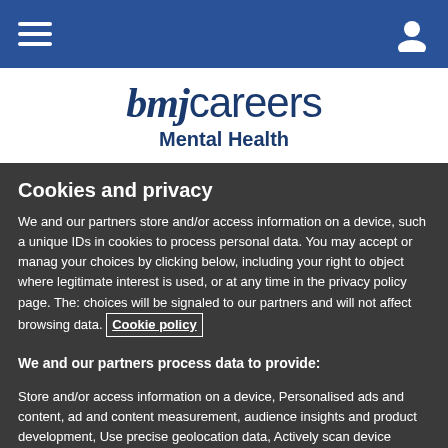bmjcareers Mental Health
Cookies and privacy
We and our partners store and/or access information on a device, such as unique IDs in cookies to process personal data. You may accept or manage your choices by clicking below, including your right to object where legitimate interest is used, or at any time in the privacy policy page. These choices will be signaled to our partners and will not affect browsing data. Cookie policy
We and our partners process data to provide:
Store and/or access information on a device, Personalised ads and content, ad and content measurement, audience insights and product development, Use precise geolocation data, Actively scan device characteristics for identification
List of Partners (vendors)